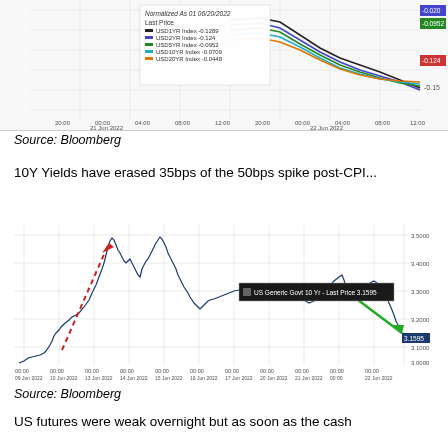[Figure (continuous-plot): Multi-line chart showing normalized USD yield indices (1Y, 2YR, 5YR, 10YR, 20YR) from 21 Jun 2022 to 22 Jun 2022, with a legend showing Last Price values: -0.1289, -0.124, -0.0952, -0.0709, -0.0448. Colored lines (black, blue, green, light blue, orange) trending downward.]
Source: Bloomberg
10Y Yields have erased 35bps of the 50bps spike post-CPI...
[Figure (continuous-plot): Line chart of US Generic Govt 10 Yr yield from 09 Jun 2022 to 22 Jun 2022. Y-axis ranges from 3.0000 to 3.5000. The line shows a sharp rise (marked with red dashed arrow) from ~3.0 to ~3.5, then decline, then recovery to ~3.3, then a sharp fall (marked with green arrow) to ~3.15. Last Price label: 3.1595.]
Source: Bloomberg
US futures were weak overnight but as soon as the cash